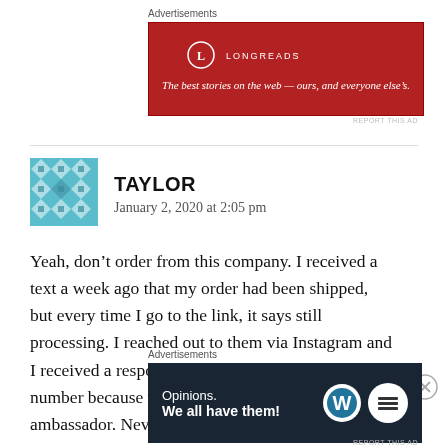[Figure (other): Longreads advertisement banner: red background with Longreads logo and tagline 'The best stories on the web — ours, and everyone else's.']
[Figure (illustration): User avatar: teal/blue geometric pattern square icon for user Taylor]
TAYLOR
January 2, 2020 at 2:05 pm
Yeah, don't order from this company. I received a text a week ago that my order had been shipped, but every time I go to the link, it says still processing. I reached out to them via Instagram and I received a response back asking for my order number because they'll include a gift for being an ambassador. Never answered my question about
[Figure (other): WordPress advertisement banner: dark navy background with 'Opinions. We all have them!' text and WordPress and another logo]